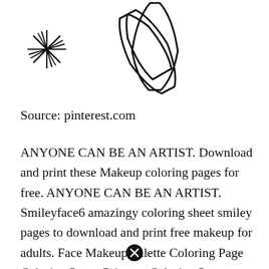[Figure (illustration): Line art icons: a starburst/asterisk shape on the left, two makeup brush or pen outlines in the center, and a heart outline on the right]
Source: pinterest.com
ANYONE CAN BE AN ARTIST. Download and print these Makeup coloring pages for free. ANYONE CAN BE AN ARTIST. Smileyface6 amazingy coloring sheet smiley pages to download and print free makeup for adults. Face Makeup Palette Coloring Page Coloring Pages Princess Coloring Pages Coloring Sheet...